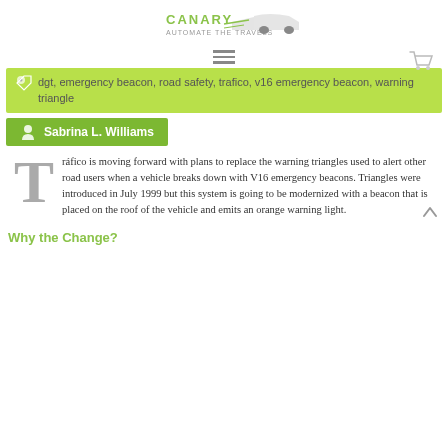[Figure (logo): Canary automotive/driving logo with green text and car graphic]
[Figure (infographic): Hamburger menu icon (three horizontal lines) and shopping cart icon]
dgt, emergency beacon, road safety, trafico, v16 emergency beacon, warning triangle
Sabrina L. Williams
Tráfico is moving forward with plans to replace the warning triangles used to alert other road users when a vehicle breaks down with V16 emergency beacons. Triangles were introduced in July 1999 but this system is going to be modernized with a beacon that is placed on the roof of the vehicle and emits an orange warning light.
Why the Change?